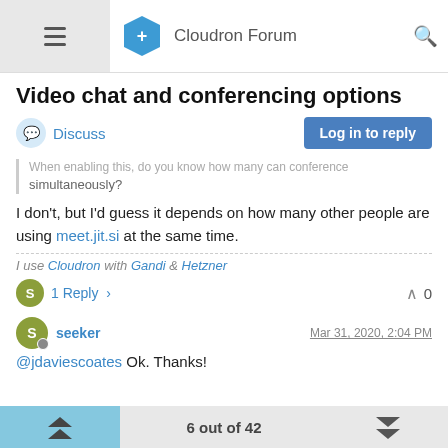Cloudron Forum
Video chat and conferencing options
Discuss | Log in to reply
When enabling this, do you know how many can conference simultaneously?
I don't, but I'd guess it depends on how many other people are using meet.jit.si at the same time.
I use Cloudron with Gandi & Hetzner
1 Reply   0
seeker  Mar 31, 2020, 2:04 PM
@jdaviescoates Ok. Thanks!
6 out of 42